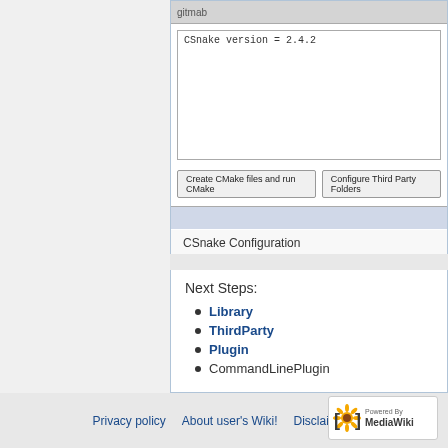[Figure (screenshot): CSnake Configuration GUI window showing a log area with 'CSnake version = 2.4.2', two buttons: 'Create CMake files and run CMake' and 'Configure Third Party Folders', and a status bar at the bottom.]
CSnake Configuration
Next Steps:
Library
ThirdParty
Plugin
CommandLinePlugin
Privacy policy   About user's Wiki!   Disclaimers